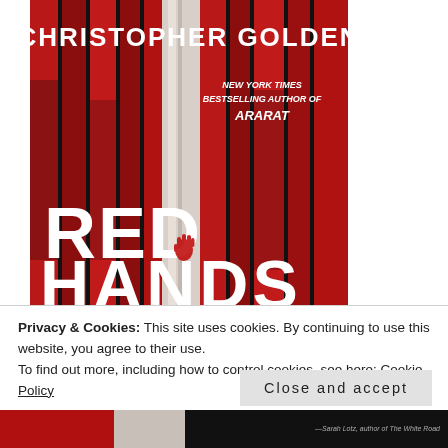[Figure (illustration): Book cover of 'Red Hands' by Christopher Golden. Black background with vertical red and dark stripes suggesting trees or bars, a white birch tree center, red handprint visible. White bold text: CHRISTOPHER GOLDEN at top, NEW YORK TIMES BESTSELLING AUTHOR OF ARARAT in italic, RED large at bottom-left, HANDS partially visible at bottom.]
Privacy & Cookies: This site uses cookies. By continuing to use this website, you agree to their use.
To find out more, including how to control cookies, see here: Cookie Policy
Close and accept
[Figure (illustration): Bottom strip showing partial book cover bottom edge and a blurb quote: —Sarah Lotz, author of The White Road]